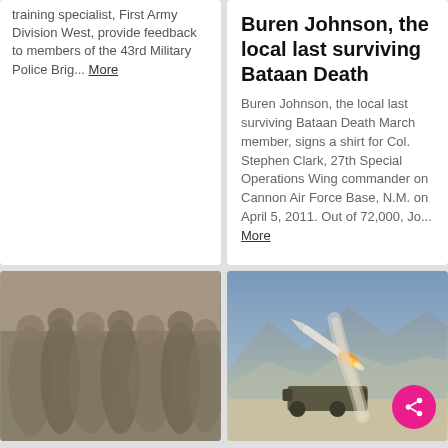training specialist, First Army Division West, provide feedback to members of the 43rd Military Police Brig... More
Buren Johnson, the local last surviving Bataan Death
Buren Johnson, the local last surviving Bataan Death March member, signs a shirt for Col. Stephen Clark, 27th Special Operations Wing commander on Cannon Air Force Base, N.M. on April 5, 2011. Out of 72,000, Jo... More
[Figure (photo): Blurred photo of soldiers in camouflage uniforms standing in a group]
[Figure (photo): Photo of a missile being launched with mountains in background; pink share button overlay in bottom right corner]